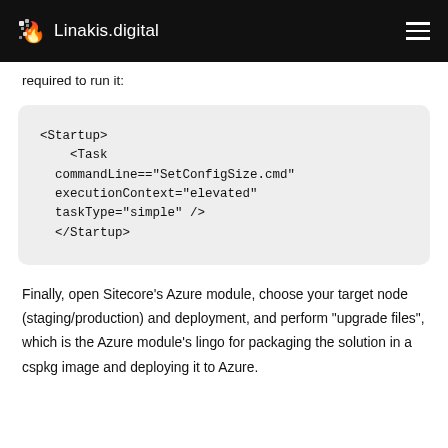Linakis.digital
required to run it:
<Startup>
    <Task commandLine=="SetConfigSize.cmd" executionContext="elevated" taskType="simple" />
</Startup>
Finally, open Sitecore's Azure module, choose your target node (staging/production) and deployment, and perform "upgrade files", which is the Azure module's lingo for packaging the solution in a cspkg image and deploying it to Azure.